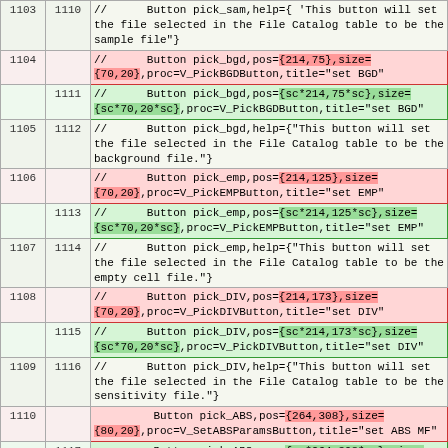| old | new | code |
| --- | --- | --- |
| 1103 | 1110 | //      Button pick_sam,help={ 'This button will set the file selected in the File Catalog table to be the sample file"} |
| 1104 |  | //      Button pick_bgd,pos={214,75},size={70,20},proc=V_PickBGDButton,title="set BGD" |
|  | 1111 | //      Button pick_bgd,pos={sc*214,75*sc},size={sc*70,20*sc},proc=V_PickBGDButton,title="set BGD" |
| 1105 | 1112 | //      Button pick_bgd,help={"This button will set the file selected in the File Catalog table to be the background file."} |
| 1106 |  | //      Button pick_emp,pos={214,125},size={70,20},proc=V_PickEMPButton,title="set EMP" |
|  | 1113 | //      Button pick_emp,pos={sc*214,125*sc},size={sc*70,20*sc},proc=V_PickEMPButton,title="set EMP" |
| 1107 | 1114 | //      Button pick_emp,help={"This button will set the file selected in the File Catalog table to be the empty cell file."} |
| 1108 |  | //      Button pick_DIV,pos={214,173},size={70,20},proc=V_PickDIVButton,title="set DIV" |
|  | 1115 | //      Button pick_DIV,pos={sc*214,173*sc},size={sc*70,20*sc},proc=V_PickDIVButton,title="set DIV" |
| 1109 | 1116 | //      Button pick_DIV,help={"This button will set the file selected in the File Catalog table to be the sensitivity file."} |
| 1110 |  |         Button pick_ABS,pos={264,308},size={80,20},proc=V_SetABSParamsButton,title="set ABS MF" |
|  | 1117 |         Button pick_ABS,pos={sc*264,308*sc},size={sc*80,20*sc},proc=V_SetABSParamsButton,title="set ABS MF" |
| 1111 | 1118 |         Button pick_ABS,help={"This button will prompt the user for absolute scaling |